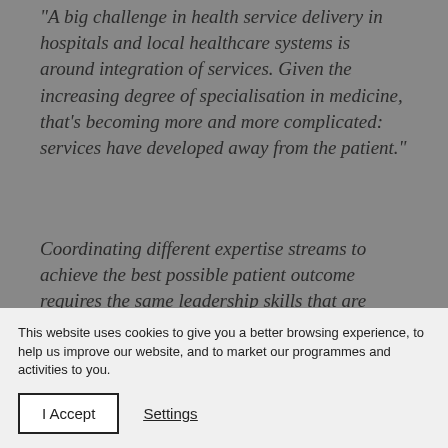“A big challenge in health service delivery in hospitals and local healthcare systems is around integration of services. Given the increasing degree of specialisation in medicine, that’s becoming more and more complicated: services have developed away from the patient.”
Coordinating different expertise streams to achieve the best possible patient outcome requires the same leadership skills that are required at management level in any organisation, he believes. “You’ll have an expert in ‘a’, an expert in ‘b’ and an expert in ‘c’. What the patient needs is for all these experts to talk to each other, i.e. work as a team, and so, leadership…
This website uses cookies to give you a better browsing experience, to help us improve our website, and to market our programmes and activities to you.